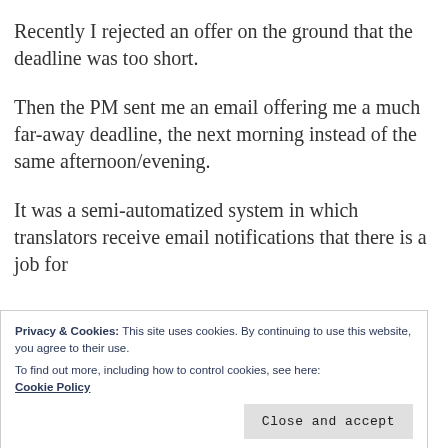Recently I rejected an offer on the ground that the deadline was too short.
Then the PM sent me an email offering me a much far-away deadline, the next morning instead of the same afternoon/evening.
It was a semi-automatized system in which translators receive email notifications that there is a job for
Privacy & Cookies: This site uses cookies. By continuing to use this website, you agree to their use.
To find out more, including how to control cookies, see here:
Cookie Policy
Close and accept
the options in the drop-down menu,